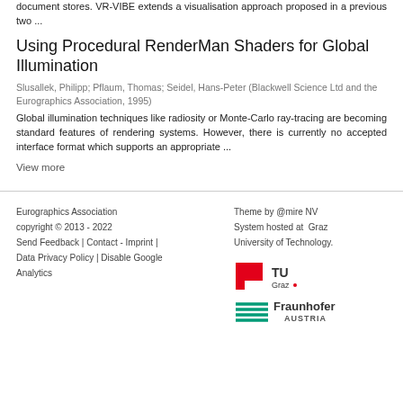document stores. VR-VIBE extends a visualisation approach proposed in a previous two ...
Using Procedural RenderMan Shaders for Global Illumination
Slusallek, Philipp; Pflaum, Thomas; Seidel, Hans-Peter (Blackwell Science Ltd and the Eurographics Association, 1995)
Global illumination techniques like radiosity or Monte-Carlo ray-tracing are becoming standard features of rendering systems. However, there is currently no accepted interface format which supports an appropriate ...
View more
Eurographics Association copyright © 2013 - 2022 Send Feedback | Contact - Imprint | Data Privacy Policy | Disable Google Analytics Theme by @mire NV System hosted at Graz University of Technology.